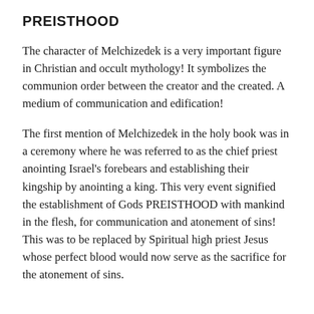PREISTHOOD
The character of Melchizedek is a very important figure in Christian and occult mythology! It symbolizes the communion order between the creator and the created. A medium of communication and edification!
The first mention of Melchizedek in the holy book was in a ceremony where he was referred to as the chief priest anointing Israel's forebears and establishing their kingship by anointing a king. This very event signified the establishment of Gods PREISTHOOD with mankind in the flesh, for communication and atonement of sins! This was to be replaced by Spiritual high priest Jesus whose perfect blood would now serve as the sacrifice for the atonement of sins.